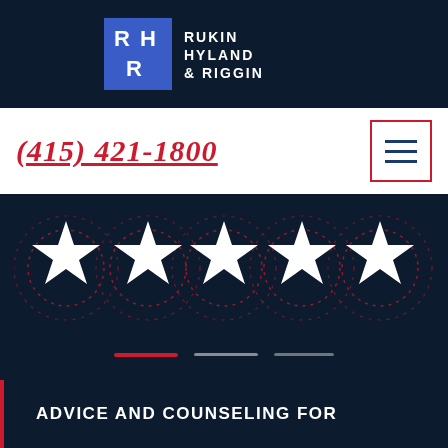[Figure (logo): Rukin Hyland & Riggin law firm logo with RHR monogram in blue and white square, and firm name in dark navy text]
(415) 421-1800
[Figure (illustration): Five white stars arranged in a row on dark navy background with decorative red dotted circular arc patterns behind each star]
[Figure (infographic): Three slider navigation indicator lines: one red (active) and two white/grey (inactive)]
ADVICE AND COUNSELING FOR